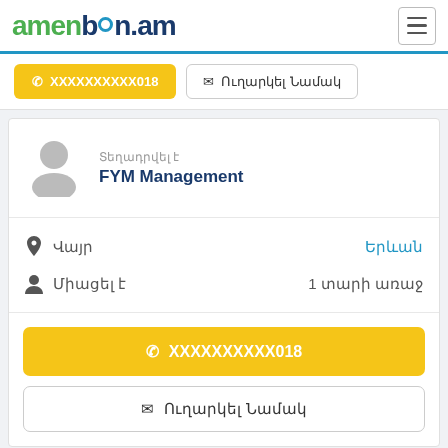[Figure (logo): amenban.am logo with green 'amen', dark blue 'ban.am' and cyan dot]
XXXXXXXXXX018
Ուղարկել Նամակ
Տեղադրվել է
FYM Management
Վայր
Երևան
Միացել է
1 տարի առաջ
XXXXXXXXXX018
Ուղարկել Նամակ